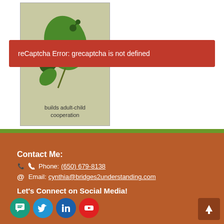[Figure (illustration): Green leaf illustration on olive/tan background card with text 'builds adult-child cooperation' at the bottom]
reCaptcha Error: grecaptcha is not defined
Contact Me:
Phone: (650) 679-8138
Email: cynthia@bridges2understanding.com
Let's Connect on Social Media!
[Figure (illustration): Social media icons: chat bubble (green), Twitter (blue), LinkedIn (dark blue), YouTube (red)]